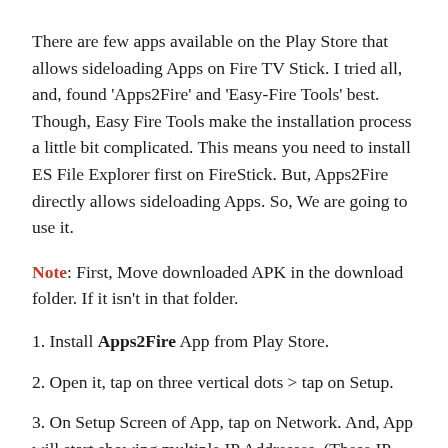There are few apps available on the Play Store that allows sideloading Apps on Fire TV Stick. I tried all, and, found ‘Apps2Fire’ and ‘Easy-Fire Tools’ best. Though, Easy Fire Tools make the installation process a little bit complicated. This means you need to install ES File Explorer first on FireStick. But, Apps2Fire directly allows sideloading Apps. So, We are going to use it.
Note: First, Move downloaded APK in the download folder. If it isn’t in that folder.
1. Install Apps2Fire App from Play Store.
2. Open it, tap on three vertical dots > tap on Setup.
3. On Setup Screen of App, tap on Network. And, App will start showing multiple IP Addresses. (These IP